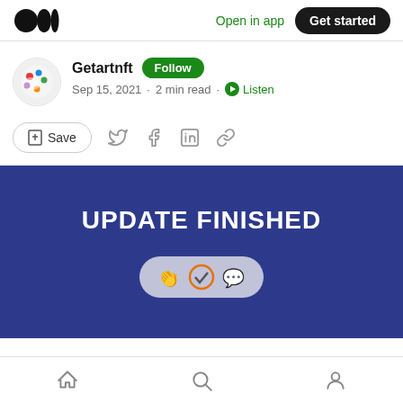Open in app | Get started
Getartnft · Follow
Sep 15, 2021 · 2 min read · Listen
Save
[Figure (screenshot): Blue banner with text UPDATE FINISHED and an icon pill showing clap, checkmark, and speech bubble icons]
Home | Search | Profile